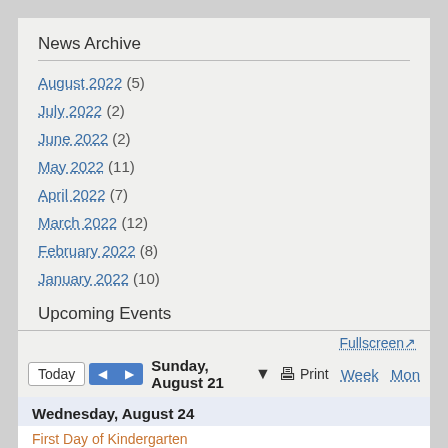News Archive
August 2022 (5)
July 2022 (2)
June 2022 (2)
May 2022 (11)
April 2022 (7)
March 2022 (12)
February 2022 (8)
January 2022 (10)
Page 1   Next ›
Upcoming Events
Fullscreen
Today  ◄ ► Sunday, August 21 ▼  Print  Week  Mon
Wednesday, August 24
First Day of Kindergarten
Monday, September 5
Labor Day